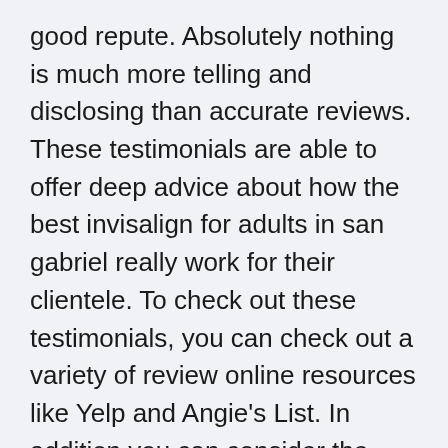good repute. Absolutely nothing is much more telling and disclosing than accurate reviews. These testimonials are able to offer deep advice about how the best invisalign for adults in san gabriel really work for their clientele. To check out these testimonials, you can check out a variety of review online resources like Yelp and Angie's List. In addition you can consider the Google Reviews likewise, to determine if the best invisalign for adults in san gabriel that you are currently planning on selecting warrants the total amount money you're going to be spending money on. It's especially crucial for you to have the proper info in front of you, if you want to